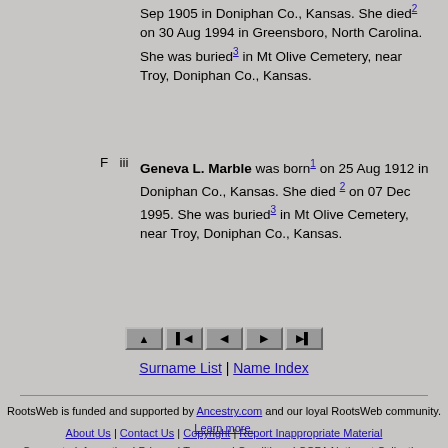Sep 1905 in Doniphan Co., Kansas. She died[2] on 30 Aug 1994 in Greensboro, North Carolina. She was buried[3] in Mt Olive Cemetery, near Troy, Doniphan Co., Kansas.
F iii Geneva L. Marble was born[1] on 25 Aug 1912 in Doniphan Co., Kansas. She died[2] on 07 Dec 1995. She was buried[3] in Mt Olive Cemetery, near Troy, Doniphan Co., Kansas.
[Figure (other): Navigation buttons: top, first, previous, next, last]
Surname List | Name Index
RootsWeb is funded and supported by Ancestry.com and our loyal RootsWeb community. Learn more. About Us | Contact Us | Copyright | Report Inappropriate Material | Corporate Information | Privacy | Terms and Conditions | CCPA Notice at Collection